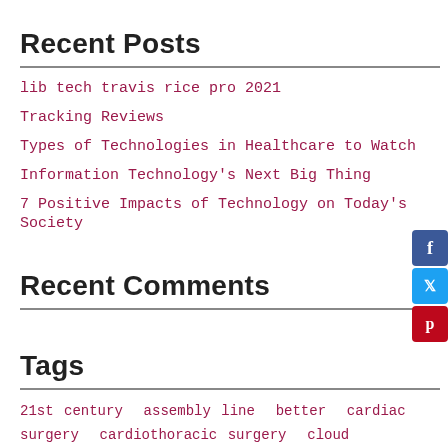Recent Posts
lib tech travis rice pro 2021
Tracking Reviews
Types of Technologies in Healthcare to Watch
Information Technology's Next Big Thing
7 Positive Impacts of Technology on Today's Society
Recent Comments
Tags
21st century  assembly line  better  cardiac surgery  cardiothoracic surgery  cloud computing  coffee  computer  global positioning system  Google  healthcare  health